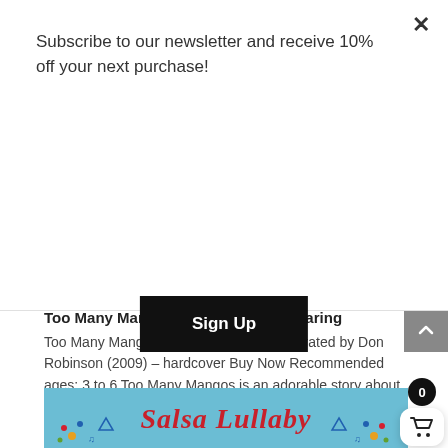Subscribe to our newsletter and receive 10% off your next purchase!
Sign Up
Too Many Mangos: A Story About Sharing
Too Many Mangos by Tammy Paikai, illustrated by Don Robinson (2009) – hardcover Buy Now Recommended ages: 3 to 6 Too Many Mangos is an adorable story about sharing and a delightful celebration of neighbors and the delicious fruit, the mango! Based on the...
[Figure (photo): Book cover for Salsa Lullaby with blue background and decorative floral elements, title in red cursive script]